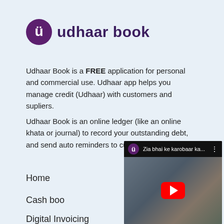[Figure (logo): Udhaar Book logo: purple circle with stylized U icon and text 'udhaar book' in dark purple bold font]
Udhaar Book is a FREE application for personal and commercial use. Udhaar app helps you manage credit (Udhaar) with customers and supliers.
Udhaar Book is an online ledger (like an online khata or journal) to record your outstanding debt, and send auto reminders to customers to
[Figure (screenshot): YouTube video thumbnail showing a man in a shop with text 'Zia bhai ke karobaar ka...' and a red YouTube play button in the center]
Home
Cash boo
Digital Invoicing